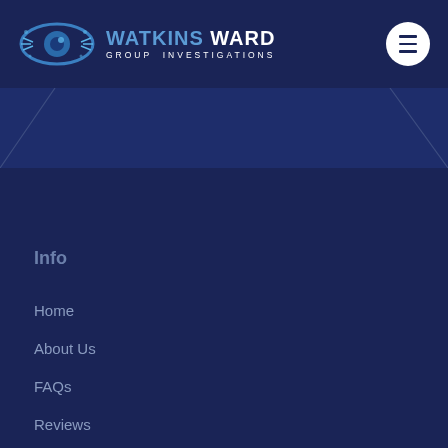Watkins Ward Group Investigations
Info
Home
About Us
FAQs
Reviews
Blog
Contact